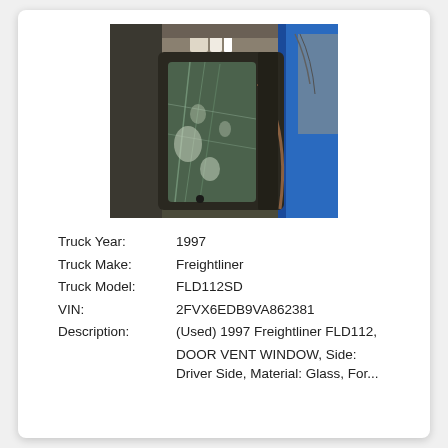[Figure (photo): Photo of a damaged truck door vent window showing cracked/shattered glass in a metal frame with blue truck body visible. The window assembly appears heavily worn and damaged.]
| Truck Year: | 1997 |
| Truck Make: | Freightliner |
| Truck Model: | FLD112SD |
| VIN: | 2FVX6EDB9VA862381 |
| Description: | (Used) 1997 Freightliner FLD112, DOOR VENT WINDOW, Side: Driver Side, Material: Glass, For... |